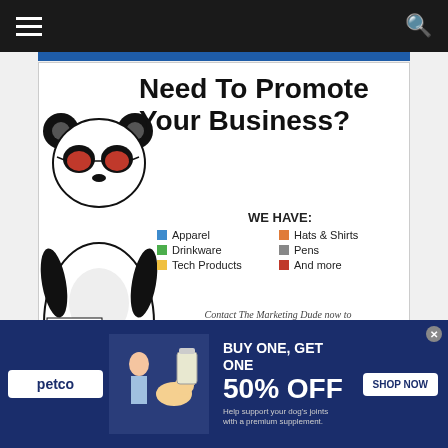Navigation bar with hamburger menu and search icon
[Figure (infographic): Zen Print promotional advertisement featuring a cartoon panda wearing red sunglasses, QR code, product list, contact info, and ZenPrintPro.Com URL]
[Figure (infographic): Petco advertisement: BUY ONE, GET ONE 50% OFF - Help support your dog's joints with a premium supplement. SHOP NOW button. Shows woman with dog and supplement product.]